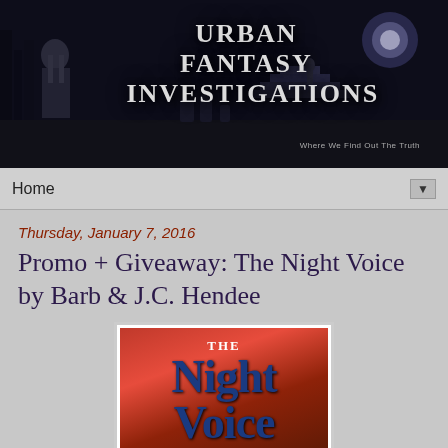[Figure (illustration): Dark atmospheric banner image for 'Urban Fantasy Investigations' blog. Shows a woman with dark hair in a crop top viewed from behind on the left, a dark cemetery/graveyard scene in the background with trees and gravestones, stairs leading up, and a moonlit sky. Large stylized text reads 'URBAN FANTASY INVESTIGATIONS' with subtitle 'Where We Find Out The Truth'.]
Home
Thursday, January 7, 2016
Promo + Giveaway: The Night Voice by Barb & J.C. Hendee
[Figure (illustration): Book cover for 'The Night Voice' by Barb & J.C. Hendee. Shows title text 'THE NIGHT VOICE' in large bold blue letters on a dramatic red/orange background suggesting pyramids or mountains.]